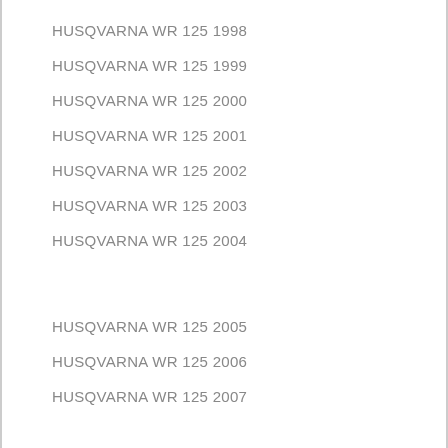HUSQVARNA WR 125 1998
HUSQVARNA WR 125 1999
HUSQVARNA WR 125 2000
HUSQVARNA WR 125 2001
HUSQVARNA WR 125 2002
HUSQVARNA WR 125 2003
HUSQVARNA WR 125 2004
HUSQVARNA WR 125 2005
HUSQVARNA WR 125 2006
HUSQVARNA WR 125 2007